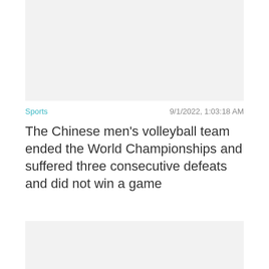[Figure (other): Gray placeholder image area at top]
Sports    9/1/2022, 1:03:18 AM
The Chinese men's volleyball team ended the World Championships and suffered three consecutive defeats and did not win a game
[Figure (other): Gray placeholder image area at bottom with Close X button]